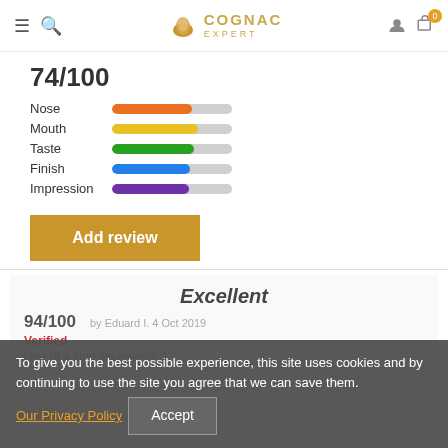Cognac Expert
74/100
[Figure (bar-chart): Cognac tasting scores]
Add review
Excellent
94/100
by Eduard I. 4 Oct 2019
Verified
One of a kind experience. I
To give you the best possible experience, this site uses cookies and by continuing to use the site you agree that we can save them. Our Privacy Policy Accept